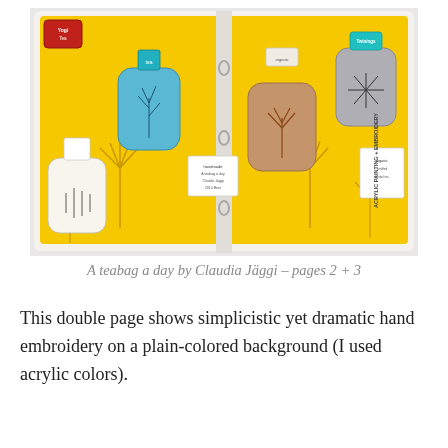[Figure (photo): A double-page spread of a handmade book titled 'A teabag a day by Claudia Jäggi', pages 2+3. The pages have a bright yellow acrylic painted background with golden dandelion-like illustrations. Several used tea bags are attached to the pages: a white embroidered one on the left, a blue cyanotype-style one in the center-left, a tan/brown one in the center-right, and a grey embroidered one on the right. Tea bag tags with text are visible. Binder rings hold the book together. Text in bottom right corner reads 'ACRYLIC PAINTING + EMBROIDERY'.]
A teabag a day by Claudia Jäggi – pages 2 + 3
This double page shows simplicistic yet dramatic hand embroidery on a plain-colored background (I used acrylic colors).